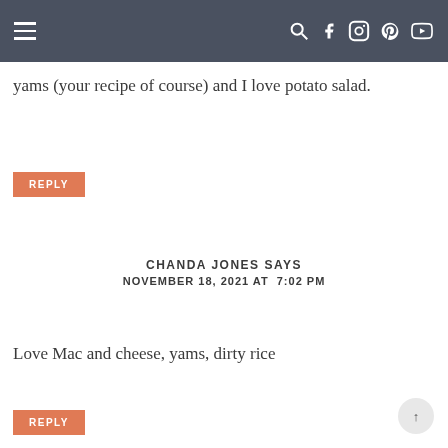Navigation bar with hamburger menu and social icons
yams (your recipe of course) and I love potato salad.
REPLY
CHANDA JONES SAYS
NOVEMBER 18, 2021 AT 7:02 PM
Love Mac and cheese, yams, dirty rice
REPLY